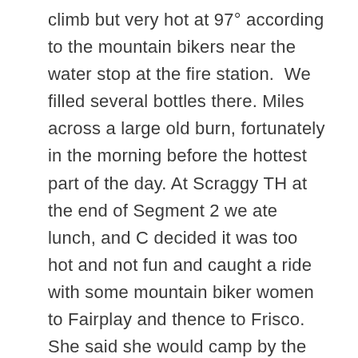climb but very hot at 97° according to the mountain bikers near the water stop at the fire station.  We filled several bottles there. Miles across a large old burn, fortunately in the morning before the hottest part of the day. At Scraggy TH at the end of Segment 2 we ate lunch, and C decided it was too hot and not fun and caught a ride with some mountain biker women to Fairplay and thence to Frisco.  She said she would camp by the lake there and dayhike and await our arrival. Because of group meals, we needed to do some sorting before she took off.
After Scraggy it was supposed to be cooler because of forest but the forest has been thinned and is very open so we got hot sun anyway.  Plus my gut is acting up again so I was slogging oh so slowly up